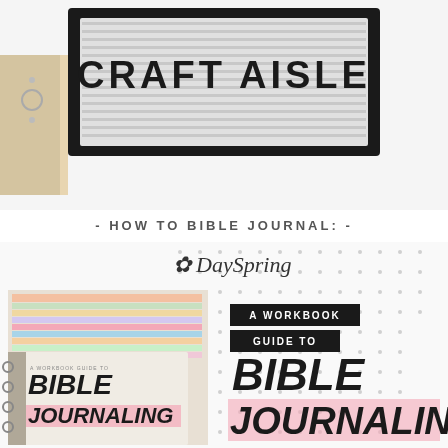[Figure (photo): Photo of a letter board sign reading CRAFT AISLE in black frame with white/grey horizontal slats, beside a tan leather-spine book/binder on white background]
- HOW TO BIBLE JOURNAL: -
[Figure (photo): Promotional image for DaySpring workbook titled 'A Workbook Guide to Bible Journaling' showing the book cover alongside colorful journaled Bible pages, with DaySpring logo at top and book title text overlay on right side]